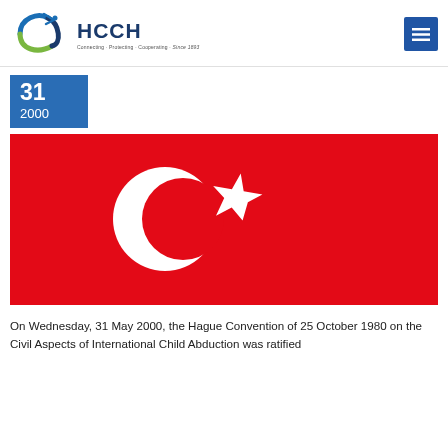HCCH
31
2000
[Figure (illustration): Flag of Turkey — red background with white crescent moon and star]
On Wednesday, 31 May 2000, the Hague Convention of 25 October 1980 on the Civil Aspects of International Child Abduction was ratified